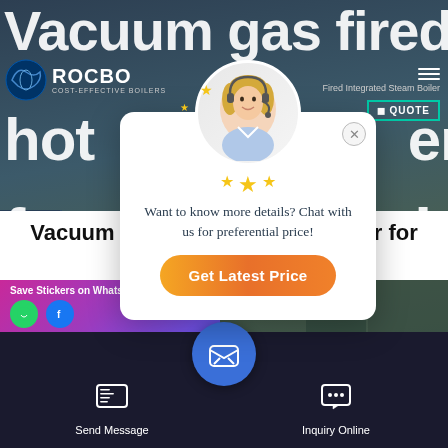[Figure (screenshot): Website screenshot with dark background showing hero text 'Vacuum gas fired hot water boiler for swimming pool' in large white bold letters]
[Figure (photo): Popup chat widget with blonde female customer service representative wearing headset, star ratings, message 'Want to know more details? Chat with us for preferential price!' and orange 'Get Latest Price' button]
Vacuum gas fired hot water boiler for swimming pool
Save Stickers on WhatsApp
Send Message
Inquiry Online